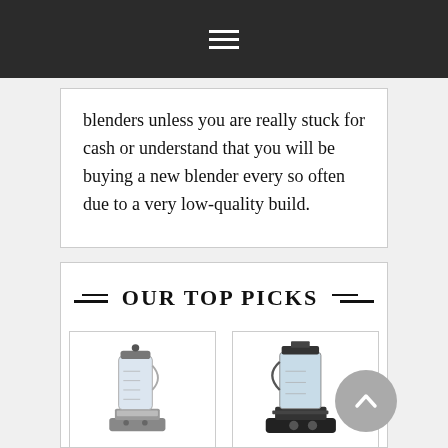☰
blenders unless you are really stuck for cash or understand that you will be buying a new blender every so often due to a very low-quality build.
OUR TOP PICKS
[Figure (photo): Two blender product images side by side: a silver/chrome blender on the left and a black blender on the right, each shown within a bordered card.]